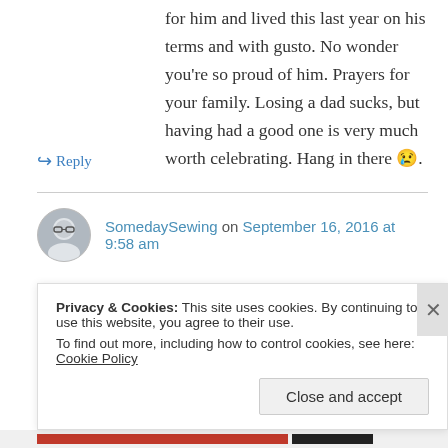for him and lived this last year on his terms and with gusto. No wonder you're so proud of him. Prayers for your family. Losing a dad sucks, but having had a good one is very much worth celebrating. Hang in there 😢.
↪ Reply
SomedaySewing on September 16, 2016 at 9:58 am
Sending good thought to you and your family! Thank you for sharing, sometimes it helps!
Privacy & Cookies: This site uses cookies. By continuing to use this website, you agree to their use. To find out more, including how to control cookies, see here: Cookie Policy
Close and accept